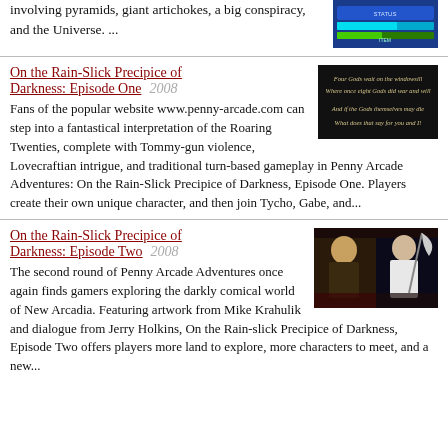involving pyramids, giant artichokes, a big conspiracy, and the Universe. ...
[Figure (screenshot): Screenshot of a game with blue/teal UI interface showing status bars]
On the Rain-Slick Precipice of Darkness: Episode One   2008
[Figure (screenshot): Dark image with poem text: Four Gods wait on the windowsill / Where once eight Gods did war and will / And if the Gods themselves may die / What does that say for you and I!]
Fans of the popular website www.penny-arcade.com can step into a fantastical interpretation of the Roaring Twenties, complete with Tommy-gun violence, Lovecraftian intrigue, and traditional turn-based gameplay in Penny Arcade Adventures: On the Rain-Slick Precipice of Darkness, Episode One. Players create their own unique character, and then join Tycho, Gabe, and...
On the Rain-Slick Precipice of Darkness: Episode Two   2008
[Figure (screenshot): Anime-style artwork showing two characters in dark attire, one wielding a scythe]
The second round of Penny Arcade Adventures once again finds gamers exploring the darkly comical world of New Arcadia. Featuring artwork from Mike Krahulik and dialogue from Jerry Holkins, On the Rain-slick Precipice of Darkness, Episode Two offers players more land to explore, more characters to meet, and a new...